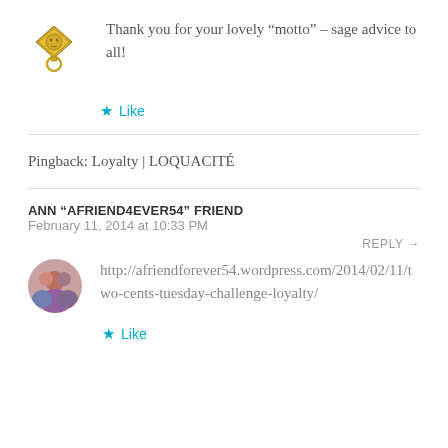Thank you for your lovely “motto” – sage advice to all!
Like
Pingback: Loyalty | LOQUACITÉ
ANN "AFRIEND4EVER54" FRIEND   February 11, 2014 at 10:33 PM
REPLY →
http://afriendforever54.wordpress.com/2014/02/11/two-cents-tuesday-challenge-loyalty/
Like